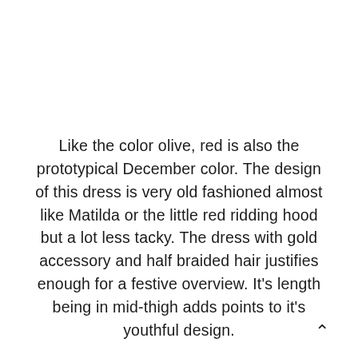Like the color olive, red is also the prototypical December color. The design of this dress is very old fashioned almost like Matilda or the little red ridding hood but a lot less tacky. The dress with gold accessory and half braided hair justifies enough for a festive overview. It's length being in mid-thigh adds points to it's youthful design.
^